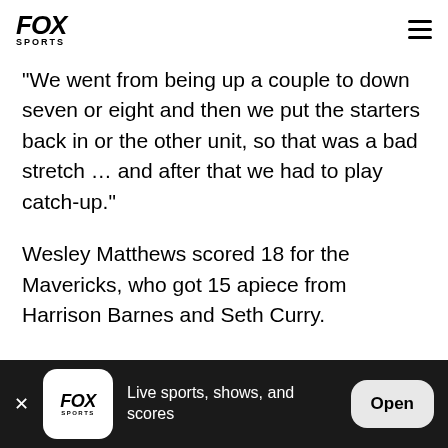FOX SPORTS
"We went from being up a couple to down seven or eight and then we put the starters back in or the other unit, so that was a bad stretch … and after that we had to play catch-up."
Wesley Matthews scored 18 for the Mavericks, who got 15 apiece from Harrison Barnes and Seth Curry.
"It's not exactly 2011," Mavericks coach Rick Carlisle said. "It's two franchises that are competitive, and
FOX SPORTS — Live sports, shows, and scores — Open